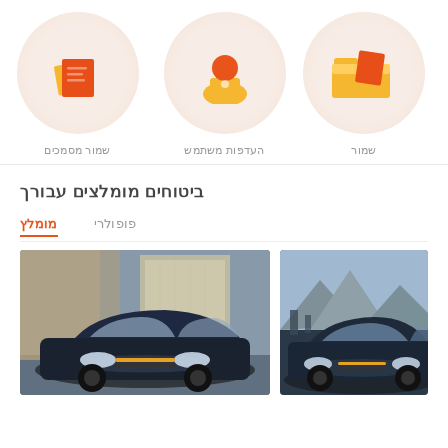[Figure (illustration): Three circular icons with orange/red illustrated symbols - documents/files, person/user, and folder. Each with a label in Arabic script below.]
שמור מסמכים
העדפות משתמש
שמור
ביטוחים מומלצים עבורך
מומלץ
פופולרי
[Figure (photo): Dark luxury SUV (BMW X7) driving in an urban setting, front view]
[Figure (photo): Dark luxury SUV (BMW X1) in a mountain/city setting, front-side view]